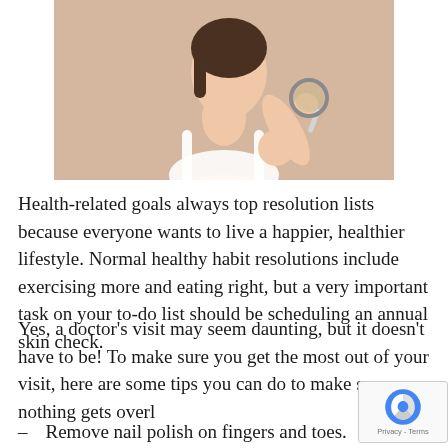[Figure (photo): A woman in a white bra examining her shoulder with a magnifying glass, against a beige/tan background. The image is cropped showing her from roughly the waist up.]
Health-related goals always top resolution lists because everyone wants to live a happier, healthier lifestyle. Normal healthy habit resolutions include exercising more and eating right, but a very important task on your to-do list should be scheduling an annual skin check.
Yes, a doctor's visit may seem daunting, but it doesn't have to be! To make sure you get the most out of your visit, here are some tips you can do to make sure nothing gets overl—
Remove nail polish on fingers and toes. Skin cancer can—